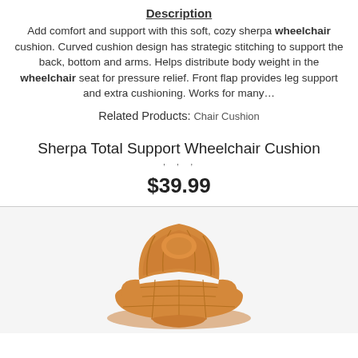Description
Add comfort and support with this soft, cozy sherpa wheelchair cushion. Curved cushion design has strategic stitching to support the back, bottom and arms. Helps distribute body weight in the wheelchair seat for pressure relief. Front flap provides leg support and extra cushioning. Works for many…
Related Products: Chair Cushion
Sherpa Total Support Wheelchair Cushion
' ' '
$39.99
[Figure (photo): A tan/brown sherpa wheelchair cushion shown from an angle, displaying the back support, seat cushion with quilted stitching, and front leg flap.]